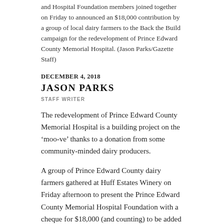and Hospital Foundation members joined together on Friday to announced an $18,000 contribution by a group of local dairy farmers to the Back the Build campaign for the redevelopment of Prince Edward County Memorial Hospital. (Jason Parks/Gazette Staff)
DECEMBER 4, 2018
JASON PARKS
STAFF WRITER
The redevelopment of Prince Edward County Memorial Hospital is a building project on the ‘moo-ve’ thanks to a donation from some community-minded dairy producers.
A group of Prince Edward County dairy farmers gathered at Huff Estates Winery on Friday afternoon to present the Prince Edward County Memorial Hospital Foundation with a cheque for $18,000 (and counting) to be added to the ‘Back the Build’ campaign.
Joined by an excellent example of a Holstein dairy cow named Tulip, from Prineville Farm in Bloomfield, members of dairy